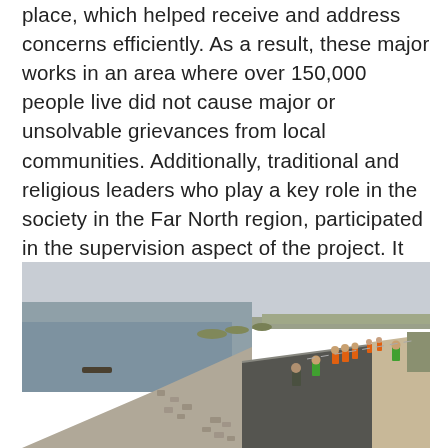place, which helped receive and address concerns efficiently. As a result, these major works in an area where over 150,000 people live did not cause major or unsolvable grievances from local communities. Additionally, traditional and religious leaders who play a key role in the society in the Far North region, participated in the supervision aspect of the project. It helped communities take ownership of the rehabilitated infrastructures.
[Figure (photo): Aerial/ground-level view of a road embankment running alongside a large body of water (lake or river). The road has a freshly paved dark asphalt surface with a gravel/stone shoulder and riprap on the waterside slope. Workers in orange and green high-visibility vests walk along the road. The landscape is flat with dry vegetation and a hazy sky.]